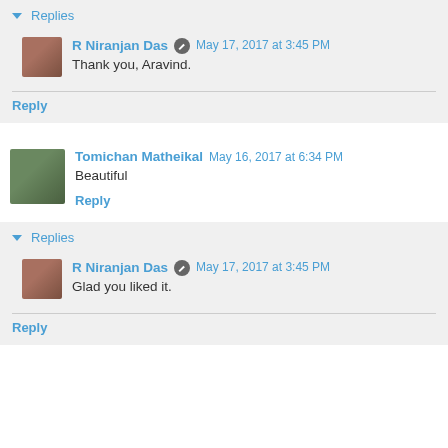▼ Replies
R Niranjan Das  May 17, 2017 at 3:45 PM
Thank you, Aravind.
Reply
Tomichan Matheikal  May 16, 2017 at 6:34 PM
Beautiful
Reply
▼ Replies
R Niranjan Das  May 17, 2017 at 3:45 PM
Glad you liked it.
Reply